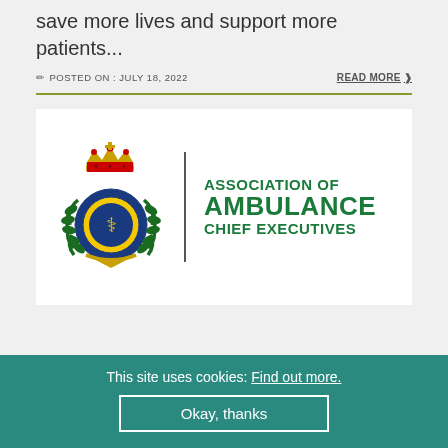save more lives and support more patients...
POSTED ON : JULY 18, 2022
READ MORE
[Figure (logo): Association of Ambulance Chief Executives logo — royal crest badge on left, vertical divider, then bold green text reading ASSOCIATION OF AMBULANCE CHIEF EXECUTIVES]
This site uses cookies: Find out more.
Okay, thanks